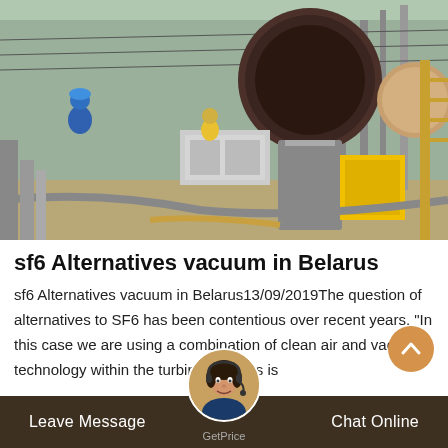[Figure (photo): Industrial site photo showing workers in blue coveralls and hard hats near large electrical/gas equipment including a large round flange fitting and yellow equipment stand, outdoor substation setting]
sf6 Alternatives vacuum in Belarus
sf6 Alternatives vacuum in Belarus13/09/2019The question of alternatives to SF6 has been contentious over recent years. "In this case we are using a combination of clean air and vacuum technology within the turbine. Belarus is